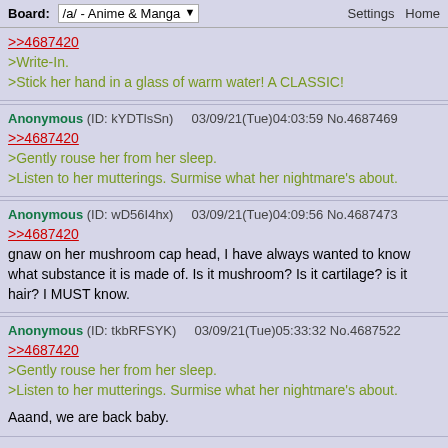Board: /a/ - Anime & Manga   Settings  Home
>>4687420
>Write-In.
>Stick her hand in a glass of warm water! A CLASSIC!
Anonymous (ID: kYDTlsSn)  03/09/21(Tue)04:03:59 No.4687469
>>4687420
>Gently rouse her from her sleep.
>Listen to her mutterings. Surmise what her nightmare's about.
Anonymous (ID: wD56I4hx)  03/09/21(Tue)04:09:56 No.4687473
>>4687420
gnaw on her mushroom cap head, I have always wanted to know what substance it is made of. Is it mushroom? Is it cartilage? is it hair? I MUST know.
Anonymous (ID: tkbRFSYK)  03/09/21(Tue)05:33:32 No.4687522
>>4687420
>Gently rouse her from her sleep.
>Listen to her mutterings. Surmise what her nightmare's about.

Aaand, we are back baby.